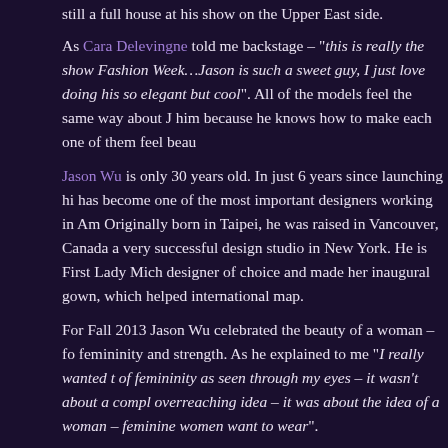still a full house at his show on the Upper East side.
As Cara Delevingne told me backstage – "this is really the show of Fashion Week…Jason is such a sweet guy, I just love doing his so elegant but cool". All of the models feel the same way about him because he knows how to make each one of them feel beau
Jason Wu is only 30 years old. In just 6 years since launching hi has become one of the most important designers working in Am Originally born in Taipei, he was raised in Vancouver, Canada a very successful design studio in New York. He is First Lady Mich designer of choice and made her inaugural gown, which helped international map.
For Fall 2013 Jason Wu celebrated the beauty of a woman – fo femininity and strength. As he explained to me "I really wanted t of femininity as seen through my eyes – it wasn't about a compl overreaching idea – it was about the idea of a woman – feminine women want to wear".
The collection was a knockout, full of seductive wearable pieces his signature. Watch the Jason Wu Fall 2013 Fashion Video her discover more online at JasonWuStudio.com
Interviews by Karen Morrison, Executive Producer & Director. Camera: C